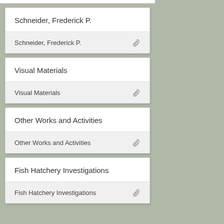Schneider, Frederick P.
Visual Materials
Other Works and Activities
Fish Hatchery Investigations